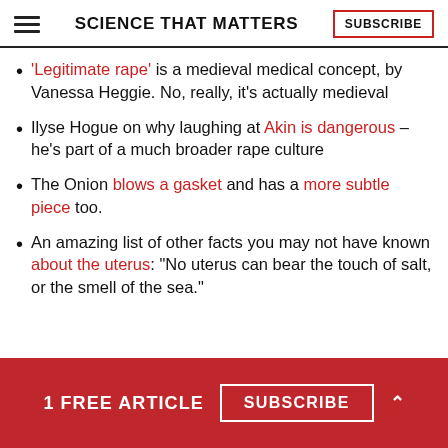SCIENCE THAT MATTERS | SUBSCRIBE
'Legitimate rape' is a medieval medical concept, by Vanessa Heggie. No, really, it's actually medieval
Ilyse Hogue on why laughing at Akin is dangerous – he's part of a much broader rape culture
The Onion blows a gasket and has a more subtle piece too.
An amazing list of other facts you may not have known about the uterus: "No uterus can bear the touch of salt, or the smell of the sea."
1 FREE ARTICLE   SUBSCRIBE